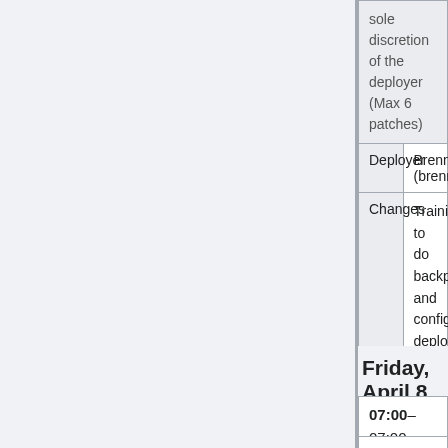|  | sole discretion of the deployer
(Max 6 patches) |
| Deployer | Brennen (brennen) |
| Changes | Training to do backport and config deployment. To sign up for deployment training use the Deployment Training Request phabricator milestone
Requesting Developer (irc-nickname)
• Gerrit link to backport or config change |
Friday, April 8
07:00–07:00 UTC #
00:00–00:00 PDT
No deploys all day. See...